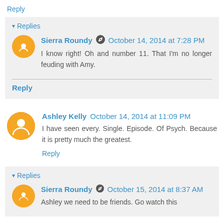Reply
Replies
Sierra Roundy  October 14, 2014 at 7:28 PM
I know right! Oh and number 11. That I'm no longer feuding with Amy.
Reply
Ashley Kelly  October 14, 2014 at 11:09 PM
I have seen every. Single. Episode. Of Psych. Because it is pretty much the greatest.
Reply
Replies
Sierra Roundy  October 15, 2014 at 8:37 AM
Ashley we need to be friends. Go watch this